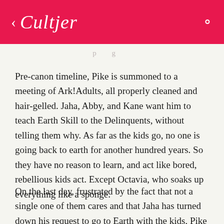< Cultjer  [search icon]
p g
Pre-canon timeline, Pike is summoned to a meeting of Ark!Adults, all properly cleaned and hair-gelled. Jaha, Abby, and Kane want him to teach Earth Skill to the Delinquents, without telling them why. As far as the kids go, no one is going back to earth for another hundred years. So they have no reason to learn, and act like bored, rebellious kids act. Except Octavia, who soaks up everything like a sponge.
On the last day, frustrated by the fact that not a single one of them cares and that Jaha has turned down his request to go to Earth with the kids, Pike